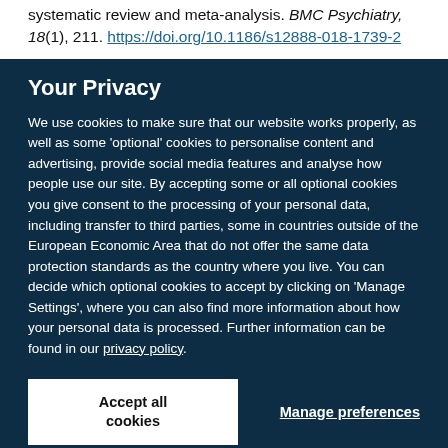clinical samples with psychiatric or somatic disorders. A systematic review and meta-analysis. BMC Psychiatry, 18(1), 211. https://doi.org/10.1186/s12888-018-1739-2
Your Privacy
We use cookies to make sure that our website works properly, as well as some 'optional' cookies to personalise content and advertising, provide social media features and analyse how people use our site. By accepting some or all optional cookies you give consent to the processing of your personal data, including transfer to third parties, some in countries outside of the European Economic Area that do not offer the same data protection standards as the country where you live. You can decide which optional cookies to accept by clicking on 'Manage Settings', where you can also find more information about how your personal data is processed. Further information can be found in our privacy policy.